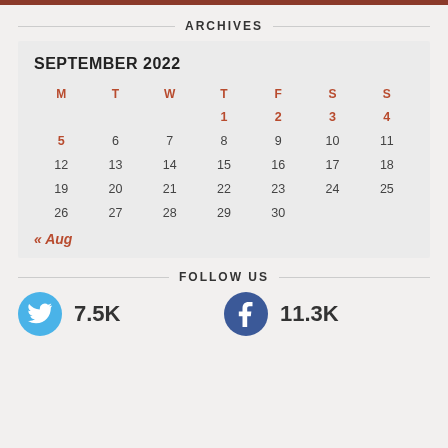ARCHIVES
| M | T | W | T | F | S | S |
| --- | --- | --- | --- | --- | --- | --- |
|  |  |  | 1 | 2 | 3 | 4 |
| 5 | 6 | 7 | 8 | 9 | 10 | 11 |
| 12 | 13 | 14 | 15 | 16 | 17 | 18 |
| 19 | 20 | 21 | 22 | 23 | 24 | 25 |
| 26 | 27 | 28 | 29 | 30 |  |  |
« Aug
FOLLOW US
7.5K
11.3K